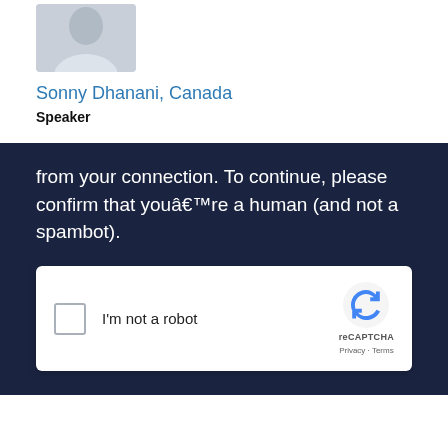[Figure (photo): Headshot photo of Sonny Dhanani, a man in a light shirt, cropped at top of page]
Sonny Dhanani, Canada
Speaker
from your connection. To continue, please confirm that youâ€™re a human (and not a spambot).
[Figure (screenshot): reCAPTCHA widget with checkbox labeled I'm not a robot and reCAPTCHA logo with Privacy and Terms links]